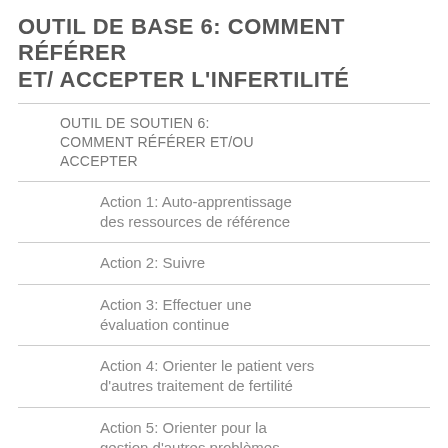OUTIL DE BASE 6: COMMENT RÉFÉRER ET/ ACCEPTER L'INFERTILITÉ
OUTIL DE SOUTIEN 6: COMMENT RÉFÉRER ET/OU ACCEPTER
Action 1: Auto-apprentissage des ressources de référence
Action 2: Suivre
Action 3: Effectuer une évaluation continue
Action 4: Orienter le patient vers d'autres traitement de fertilité
Action 5: Orienter pour la gestion d'autres problèmes